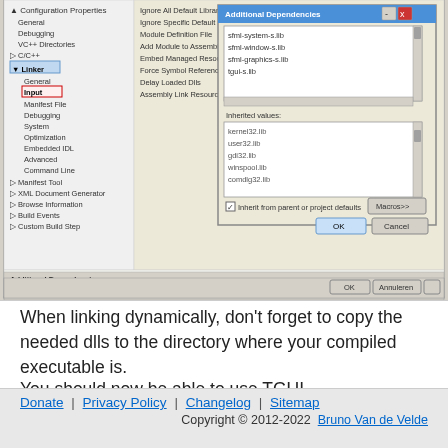[Figure (screenshot): Screenshot of Visual Studio project properties dialog showing 'Additional Dependencies' window with sfml-system-s.lib, sfml-window-s.lib, sfml-graphics-s.lib, tgui-s.lib listed, and inherited values including kernel32.lib, user32.lib, gdi32.lib, winspool.lib, comdlg32.lib. OK and Cancel buttons visible. Main properties panel shows Linker > Input selected in tree on left.]
When linking dynamically, don't forget to copy the needed dlls to the directory where your compiled executable is.
You should now be able to use TGUI.
Donate | Privacy Policy | Changelog | Sitemap
Copyright © 2012-2022  Bruno Van de Velde